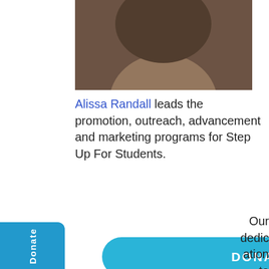[Figure (photo): Cropped photo of a person's head/face from below — dark curly hair visible, partial face/neck]
Alissa Randall leads the promotion, outreach, advancement and marketing programs for Step Up For Students.
[Figure (other): Blue 'Donate' sidebar button with heart icon, rotated text 'Donate']
[Figure (other): Blue rounded 'DONATE NOW' button]
Our dedication to students doesn't end when they receive a scholarship. Your support will enable Step Up to maximize the impact of the scholarships the students receive.